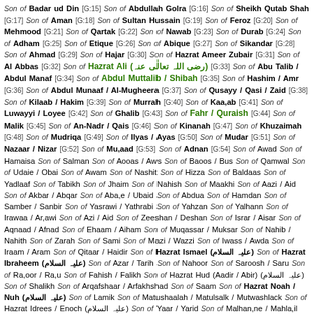Son of Badar ud Din [G:15] Son of Abdullah Golra [G:16] Son of Sheikh Qutab Shah [G:17] Son of Aman [G:18] Son of Sultan Hussain [G:19] Son of Feroz [G:20] Son of Mehmood [G:21] Son of Qartak [G:22] Son of Nawab [G:23] Son of Durab [G:24] Son of Adham [G:25] Son of Etique [G:26] Son of Abique [G:27] Son of Sikandar [G:28] Son of Ahmad [G:29] Son of Hajar [G:30] Son of Hazrat Ameer Zubair [G:31] Son of Al Abbas [G:32] Son of Hazrat Ali (رضی اللہ تعالٰی عنہ) [G:33] Son of Abu Talib / Abdul Manaf [G:34] Son of Abdul Muttalib / Shibah [G:35] Son of Hashim / Amr [G:36] Son of Abdul Munaaf / Al-Mugheera [G:37] Son of Qusayy / Qasi / Zaid [G:38] Son of Kilaab / Hakim [G:39] Son of Murrah [G:40] Son of Kaa,ab [G:41] Son of Luwayyi / Loyee [G:42] Son of Ghalib [G:43] Son of Fahr / Quraish [G:44] Son of Malik [G:45] Son of An-Nadr / Qais [G:46] Son of Kinanah [G:47] Son of Khuzaimah [G:48] Son of Mudriqa [G:49] Son of Ilyas / Ayas [G:50] Son of Mudar [G:51] Son of Nazaar / Nizar [G:52] Son of Mu,aad [G:53] Son of Adnan [G:54] Son of Awad Son of Hamaisa Son of Salman Son of Aooas / Aws Son of Baoos / Bus Son of Qamwal Son of Udaie / Obai Son of Awam Son of Nashit Son of Hizza Son of Baldaas Son of Yadlaaf Son of Tabikh Son of Jhaim Son of Nahish Son of Maakhi Son of Aazi / Aid Son of Akbar / Abqar Son of Aba,e / Ubaid Son of Abdua Son of Hamdan Son of Samber / Sanbir Son of Yasrawi / Yathrabi Son of Yahzan Son of Yalhann Son of Irawaa / Ar,awi Son of Azi / Aid Son of Zeeshan / Deshan Son of Israr / Aisar Son of Aqnaad / Afnad Son of Ehaam / Aiham Son of Muqassar / Muksar Son of Nahib / Nahith Son of Zarah Son of Sami Son of Mazi / Wazzi Son of Iwass / Awda Son of Iraam / Aram Son of Qitaar / Haidir Son of Hazrat Ismael (علیہ السلام) Son of Hazrat Ibraheem (علیہ السلام) Son of Azar / Tarih Son of Nahoor Son of Saroosh / Saru Son of Ra,oor / Ra,u Son of Fahish / Falikh Son of Hazrat Hud (Aadir / Abir) (علیہ السلام) Son of Shalikh Son of Arqafshaar / Arfakhshad Son of Saam Son of Hazrat Noah / Nuh (علیہ السلام) Son of Lamik Son of Matushaalah / Matulsalk / Mutwashlack Son of Hazrat Idrees / Enoch (علیہ السلام) Son of Yaar / Yarid Son of Malhan,ne / Mahla,il Son of Kinan / Qainan Son of Aanoosh / Anwas / Anusha Son of Hazrat Shees / Sheth